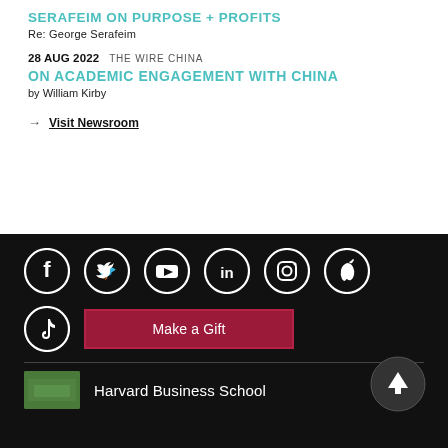SERAFEIM ON PURPOSE + PROFITS
Re: George Serafeim
28 AUG 2022  THE WIRE CHINA
ON ACADEMIC ENGAGEMENT WITH CHINA
by William Kirby
→ Visit Newsroom
[Figure (infographic): Social media icons row: Facebook, Twitter, YouTube, LinkedIn, Instagram, Apple. Second row: TikTok, Make a Gift button, scroll-to-top arrow button. Divider line. HBS campus photo thumbnail and Harvard Business School text.]